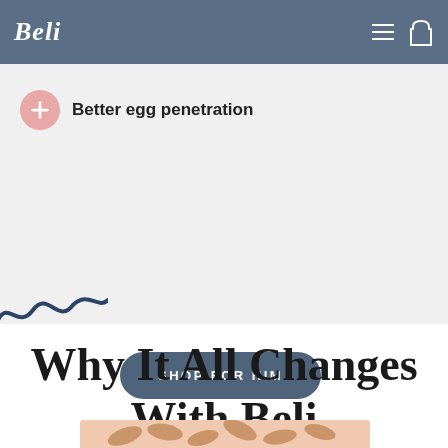Beli
Better egg penetration
SHOP FOR HIM
Why It All Changes With Beli
[Figure (photo): Pink background with beige supplement capsule pills scattered]